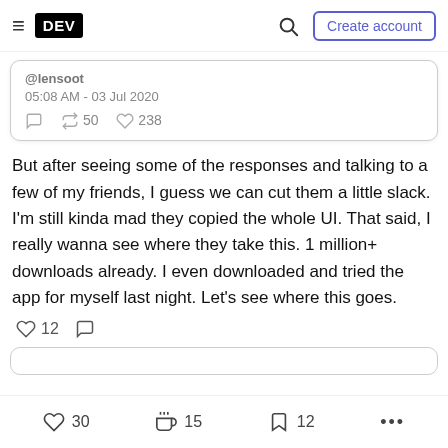DEV — Create account
[Figure (screenshot): Partial tweet embed showing username, time 05:08 AM - 03 Jul 2020, retweet count 50, like count 238]
But after seeing some of the responses and talking to a few of my friends, I guess we can cut them a little slack. I'm still kinda mad they copied the whole UI. That said, I really wanna see where they take this. 1 million+ downloads already. I even downloaded and tried the app for myself last night. Let's see where this goes.
♡ 12  ○
♡ 30   🤟 15   🔖 12   ...